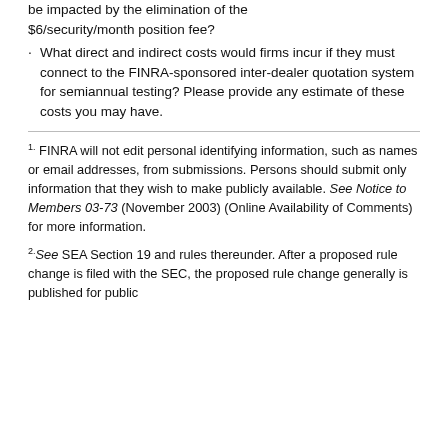be impacted by the elimination of the $6/security/month position fee?
What direct and indirect costs would firms incur if they must connect to the FINRA-sponsored inter-dealer quotation system for semiannual testing? Please provide any estimate of these costs you may have.
1. FINRA will not edit personal identifying information, such as names or email addresses, from submissions. Persons should submit only information that they wish to make publicly available. See Notice to Members 03-73 (November 2003) (Online Availability of Comments) for more information.
2. See SEA Section 19 and rules thereunder. After a proposed rule change is filed with the SEC, the proposed rule change generally is published for public